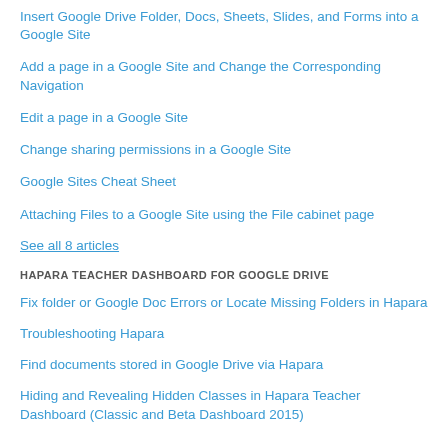Insert Google Drive Folder, Docs, Sheets, Slides, and Forms into a Google Site
Add a page in a Google Site and Change the Corresponding Navigation
Edit a page in a Google Site
Change sharing permissions in a Google Site
Google Sites Cheat Sheet
Attaching Files to a Google Site using the File cabinet page
See all 8 articles
HAPARA TEACHER DASHBOARD FOR GOOGLE DRIVE
Fix folder or Google Doc Errors or Locate Missing Folders in Hapara
Troubleshooting Hapara
Find documents stored in Google Drive via Hapara
Hiding and Revealing Hidden Classes in Hapara Teacher Dashboard (Classic and Beta Dashboard 2015)